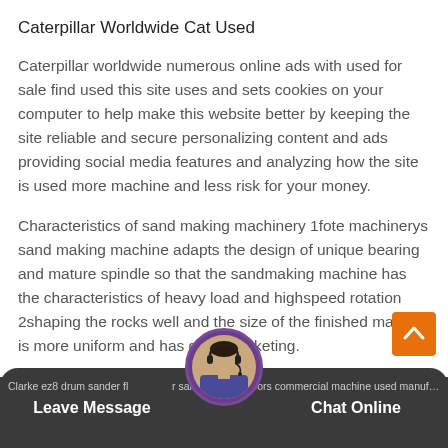Caterpillar Worldwide Cat Used
Caterpillar worldwide numerous online ads with used for sale find used this site uses and sets cookies on your computer to help make this website better by keeping the site reliable and secure personalizing content and ads providing social media features and analyzing how the site is used more machine and less risk for your money.
Characteristics of sand making machinery 1fote machinerys sand making machine adapts the design of unique bearing and mature spindle so that the sandmaking machine has the characteristics of heavy load and highspeed rotation 2shaping the rocks well and the size of the finished material is more uniform and has good marketing.
Clarke ez8 drum sander fl...r sanding wood floors commercial machine used manufacturer clarke used clarke | Leave Message | Chat Online